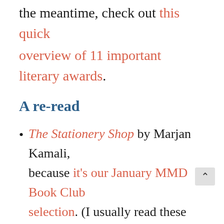the meantime, check out this quick overview of 11 important literary awards.
A re-read
The Stationery Shop by Marjan Kamali, because it's our January MMD Book Club selection. (I usually read these selections once before I choose them and again wi our members.)
The Ten Thousand Doors of January by